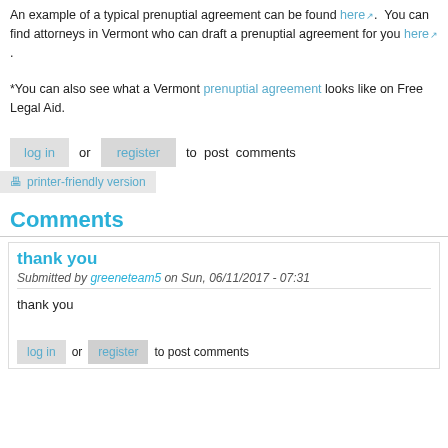An example of a typical prenuptial agreement can be found here. You can find attorneys in Vermont who can draft a prenuptial agreement for you here.
*You can also see what a Vermont prenuptial agreement looks like on Free Legal Aid.
log in or register to post comments
printer-friendly version
Comments
thank you
Submitted by greeneteam5 on Sun, 06/11/2017 - 07:31
thank you
log in or register to post comments